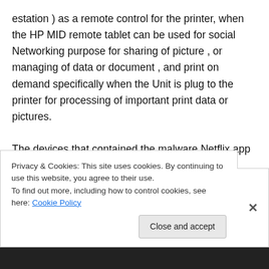estation ) as a remote control for the printer, when the HP MID remote tablet can be used for social Networking purpose for sharing of picture , or managing of data or document , and print on demand specifically when the Unit is plug to the printer for processing of important print data or pictures.
The devices that contained the malware Netflix app included: the Samsung Galaxy Note tablet (GT-N8013),
Samsung Galaxy Cellphone (SGH-1727), the
Privacy & Cookies: This site uses cookies. By continuing to use this website, you agree to their use.
To find out more, including how to control cookies, see here: Cookie Policy